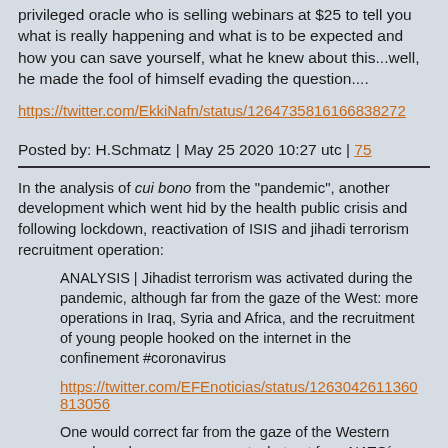privileged oracle who is selling webinars at $25 to tell you what is really happening and what is to be expected and how you can save yourself, what he knew about this...well, he made the fool of himself evading the question....
https://twitter.com/EkkiNafn/status/1264735816166838272
Posted by: H.Schmatz | May 25 2020 10:27 utc | 75
In the analysis of cui bono from the "pandemic", another development which went hid by the health public crisis and following lockdown, reactivation of ISIS and jihadi terrorism recruitment operation:
ANALYSIS | Jihadist terrorism was activated during the pandemic, although far from the gaze of the West: more operations in Iraq, Syria and Africa, and the recruitment of young people hooked on the internet in the confinement #coronavirus
https://twitter.com/EFEnoticias/status/1263042611360813056
One would correct far from the gaze of the Western people and some governments, but not from NATO´s main powers´gaze....